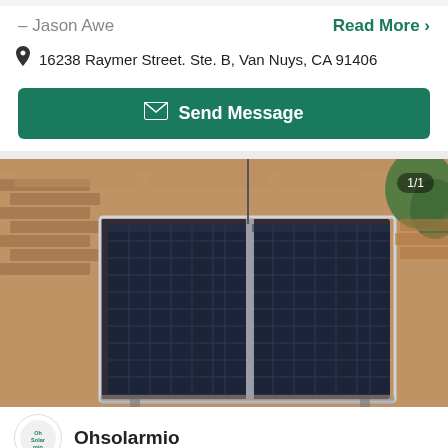– Jason Awe
Read More >
16238 Raymer Street. Ste. B, Van Nuys, CA 91406
Send Message
[Figure (photo): Two solar panels mounted on a shingle roof, photographed at an angle. Badge showing '1/1' in upper right corner of photo.]
Ohsolarmio